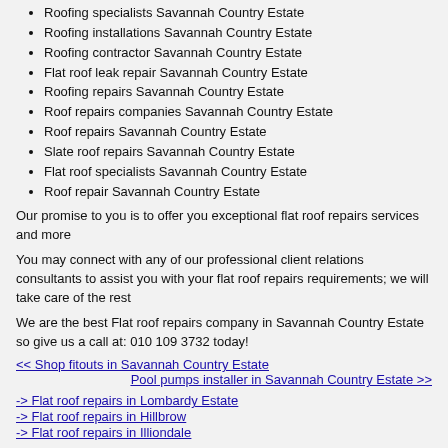Roofing specialists Savannah Country Estate
Roofing installations Savannah Country Estate
Roofing contractor Savannah Country Estate
Flat roof leak repair Savannah Country Estate
Roofing repairs Savannah Country Estate
Roof repairs companies Savannah Country Estate
Roof repairs Savannah Country Estate
Slate roof repairs Savannah Country Estate
Flat roof specialists Savannah Country Estate
Roof repair Savannah Country Estate
Our promise to you is to offer you exceptional flat roof repairs services and more
You may connect with any of our professional client relations consultants to assist you with your flat roof repairs requirements; we will take care of the rest
We are the best Flat roof repairs company in Savannah Country Estate so give us a call at: 010 109 3732 today!
<< Shop fitouts in Savannah Country Estate
Pool pumps installer in Savannah Country Estate >>
-> Flat roof repairs in Lombardy Estate
-> Flat roof repairs in Hillbrow
-> Flat roof repairs in Illiondale